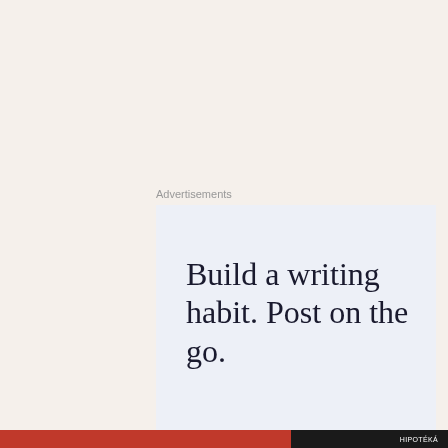Advertisements
[Figure (other): Advertisement banner with text: Build a writing habit. Post on the go.]
Due to the time we spent in the airport...
Privacy & Cookies: This site uses cookies. By continuing to use this website, you agree to their use.
To find out more, including how to control cookies, see here: Cookie Policy
Close and accept